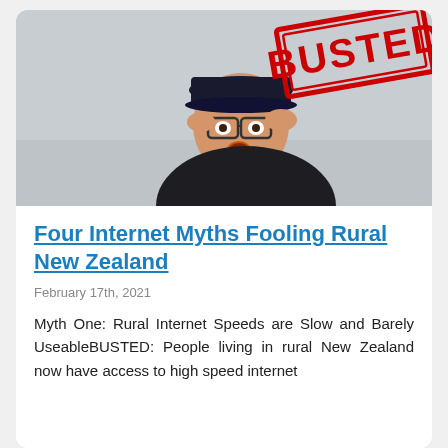[Figure (photo): Photo of a surprised man wearing a dark cap and glasses, holding his glasses and looking shocked, with a large red 'BUSTED' stamp overlaid diagonally in the upper right area. Background is light grey.]
Four Internet Myths Fooling Rural New Zealand
February 17th, 2021
Myth One: Rural Internet Speeds are Slow and Barely UseableBUSTED: People living in rural New Zealand now have access to high speed internet